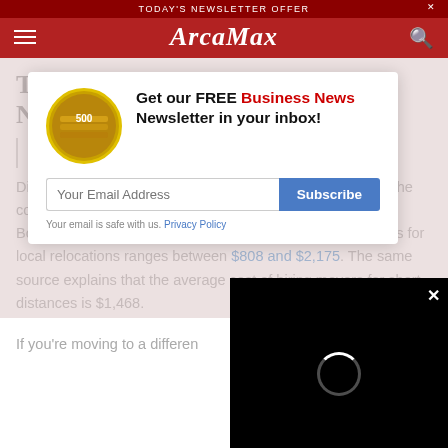TODAY'S NEWSLETTER OFFER | ArcaMax
The Cost of Hiring Movers in a Nutshell
Different online sources will give you different estimates of the cost of hiring professional movers. A reputable source like BobVila.com says that the cost of hiring professional movers for local relocations ranges between $808 and $2,175. The same source explains that the average cost of hiring movers for short distances is $1,468.
If you're moving to a differen
[Figure (screenshot): Newsletter subscription popup: Get our FREE Business News Newsletter in your inbox! with email input and Subscribe button]
[Figure (screenshot): Video player overlay with loading spinner and close button]